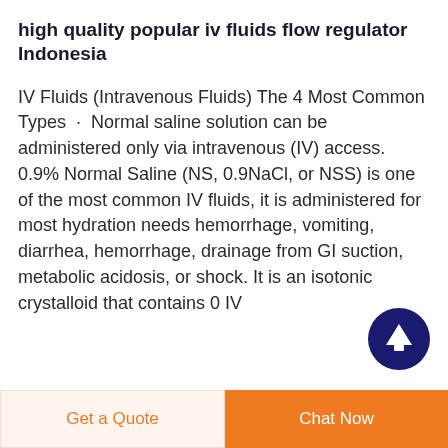high quality popular iv fluids flow regulator Indonesia
IV Fluids (Intravenous Fluids) The 4 Most Common Types · Normal saline solution can be administered only via intravenous (IV) access. 0.9% Normal Saline (NS, 0.9NaCl, or NSS) is one of the most common IV fluids, it is administered for most hydration needs hemorrhage, vomiting, diarrhea, hemorrhage, drainage from GI suction, metabolic acidosis, or shock. It is an isotonic crystalloid that contains 0 IV
[Figure (other): Dark blue circular scroll-to-top button with white upward arrow icon]